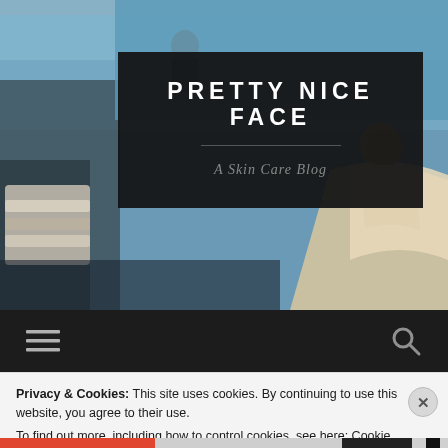[Figure (photo): Background photo of a classical swimming pool scene with figures in white draped clothing, bluish tones, impressionist or classical painting style]
PRETTY NICE FACE
A Skin Care Blog
[Figure (infographic): Dark navigation bar with hamburger menu icon on left and search magnifying glass icon on right]
Privacy & Cookies: This site uses cookies. By continuing to use this website, you agree to their use.
To find out more, including how to control cookies, see here: Cookie Policy
Close and accept